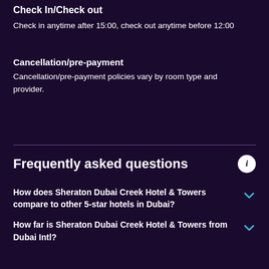Check In/Check out
Check in anytime after 15:00, check out anytime before 12:00
Cancellation/pre-payment
Cancellation/pre-payment policies vary by room type and provider.
Frequently asked questions
How does Sheraton Dubai Creek Hotel & Towers compare to other 5-star hotels in Dubai?
How far is Sheraton Dubai Creek Hotel & Towers from Dubai Intl?